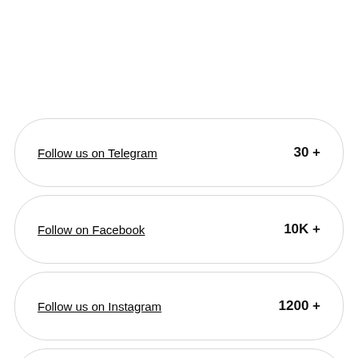Follow us on Telegram | 30 +
Follow on Facebook | 10K +
Follow us on Instagram | 1200 +
Follow us on Twitter | 23K +
Subscribe on Youtube | 400 +